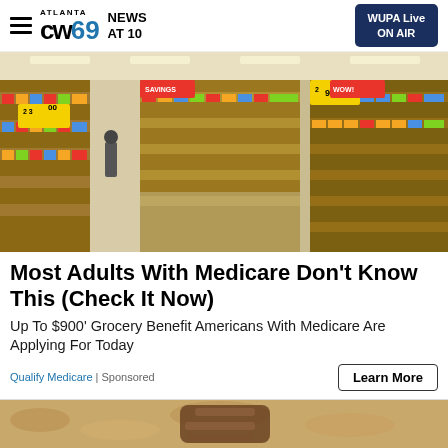ATLANTA CW69 NEWS AT 10 | WUPA Live ON AIR
[Figure (photo): Interior of a grocery store showing long aisles with shelves stocked with products. Visible price signs: $2.30 and $2.99. Bright fluorescent lighting overhead.]
Most Adults With Medicare Don't Know This (Check It Now)
Up To $900' Grocery Benefit Americans With Medicare Are Applying For Today
Qualify Medicare | Sponsored
Learn More
[Figure (photo): Close-up of sandals on sandy ground, partially visible at bottom of page.]